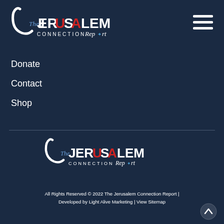[Figure (logo): The Jerusalem Connection Report logo - top navigation area]
[Figure (illustration): Hamburger menu icon (three horizontal lines) in top right]
Donate
Contact
Shop
[Figure (logo): The Jerusalem Connection Report logo - footer area]
All Rights Reserved © 2022 The Jerusalem Connection Report | Developed by Light Alive Marketing | View Sitemap